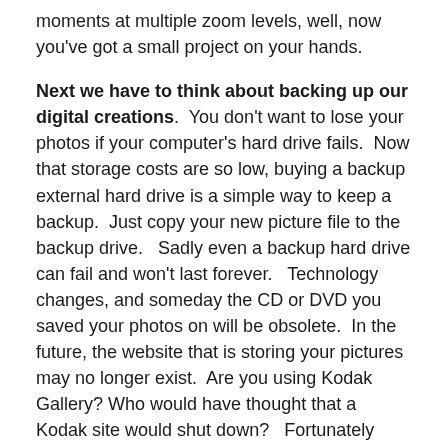moments at multiple zoom levels, well, now you've got a small project on your hands.
Next we have to think about backing up our digital creations. You don't want to lose your photos if your computer's hard drive fails. Now that storage costs are so low, buying a backup external hard drive is a simple way to keep a backup. Just copy your new picture file to the backup drive. Sadly even a backup hard drive can fail and won't last forever. Technology changes, and someday the CD or DVD you saved your photos on will be obsolete. In the future, the website that is storing your pictures may no longer exist. Are you using Kodak Gallery? Who would have thought that a Kodak site would shut down? Fortunately Kodak is moving your photos to Shutterfly.